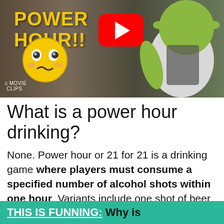[Figure (screenshot): YouTube video thumbnail showing 'POWER HOUR!!' text in yellow on dark background, a YouTube play button, a dizzy emoji face, and Shrek character from movie. MovieClips watermark visible.]
What is a power hour drinking?
None. Power hour or 21 for 21 is a drinking game where players must consume a specified number of alcohol shots within one hour. Variants include one shot of beer every minute for an hour, or 60 shots of beer within one hour.
THIS IS FUNNING:  Why is